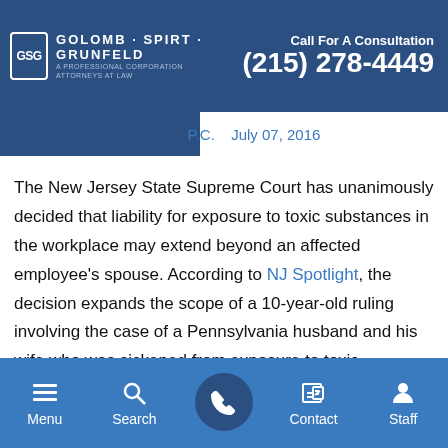Golomb Spirt Grunfeld | Call For A Consultation (215) 278-4449
by Golomb Spirt Grunfeld, P.C.   July 07, 2016
The New Jersey State Supreme Court has unanimously decided that liability for exposure to toxic substances in the workplace may extend beyond an affected employee's spouse. According to NJ Spotlight, the decision expands the scope of a 10-year-old ruling involving the case of a Pennsylvania husband and his wife who was sickened from exposure to toxic substances.
In the original case, the wife of a ceramic worker was diagnosed with chronic beryllium disease, an incurable condition affecting
Menu  Search  [Call]  Contact  Staff